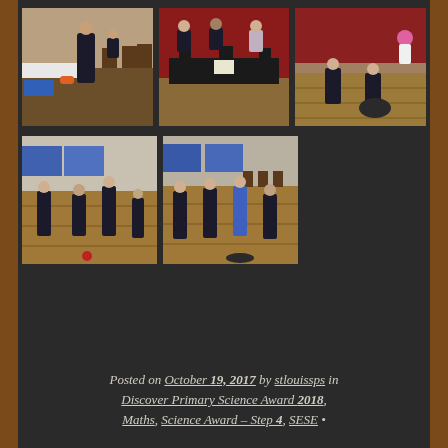[Figure (photo): Five photos of students in a school hall engaged in science/maths activities — three in the top row (students at desks, students doing floor activity with a disk), two in the bottom row (students playing with equipment on a gym floor).]
Posted on October 19, 2017 by stlouissps in Discover Primary Science Award 2018, Maths, Science Award - Step 4, SESE •